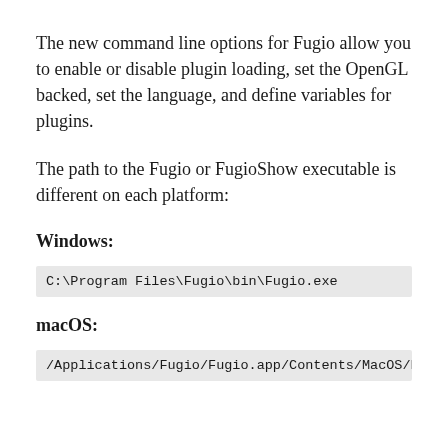The new command line options for Fugio allow you to enable or disable plugin loading, set the OpenGL backed, set the language, and define variables for plugins.
The path to the Fugio or FugioShow executable is different on each platform:
Windows:
C:\Program Files\Fugio\bin\Fugio.exe
macOS:
/Applications/Fugio/Fugio.app/Contents/MacOS/F